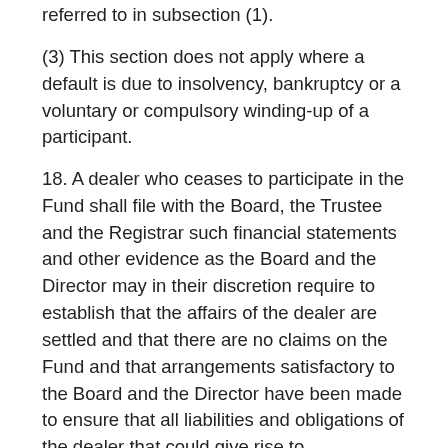referred to in subsection (1).
(3) This section does not apply where a default is due to insolvency, bankruptcy or a voluntary or compulsory winding-up of a participant.
18. A dealer who ceases to participate in the Fund shall file with the Board, the Trustee and the Registrar such financial statements and other evidence as the Board and the Director may in their discretion require to establish that the affairs of the dealer are settled and that there are no claims on the Fund and that arrangements satisfactory to the Board and the Director have been made to ensure that all liabilities and obligations of the dealer that could give rise to